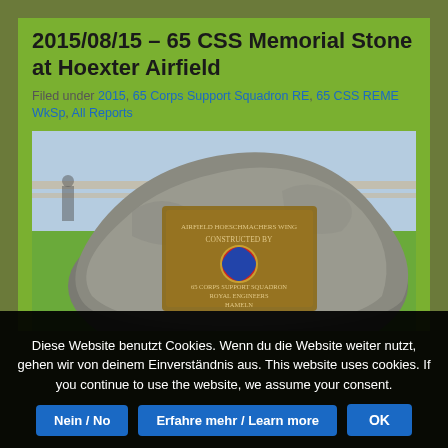2015/08/15 – 65 CSS Memorial Stone at Hoexter Airfield
Filed under 2015, 65 Corps Support Squadron RE, 65 CSS REME WkSp, All Reports
[Figure (photo): A large grey boulder with a brass memorial plaque attached to it. The plaque appears to show text about construction and features a colored badge/crest, referencing Corps Support Squadron, Royal Engineers, and Hameln. Background shows green grass and a fence.]
Diese Website benutzt Cookies. Wenn du die Website weiter nutzt, gehen wir von deinem Einverständnis aus. This website uses cookies. If you continue to use the website, we assume your consent.